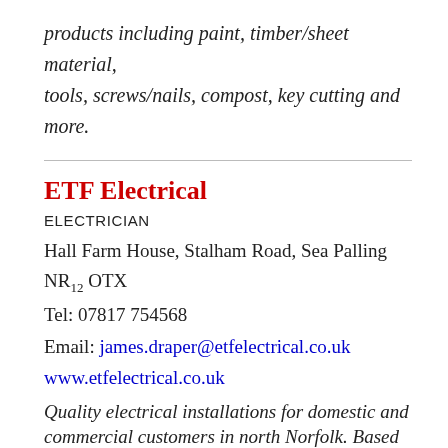products including paint, timber/sheet material, tools, screws/nails, compost, key cutting and more.
ETF Electrical
ELECTRICIAN
Hall Farm House, Stalham Road, Sea Palling NR12 OTX
Tel: 07817 754568
Email: james.draper@etfelectrical.co.uk
www.etfelectrical.co.uk
Quality electrical installations for domestic and commercial customers in north Norfolk. Based in